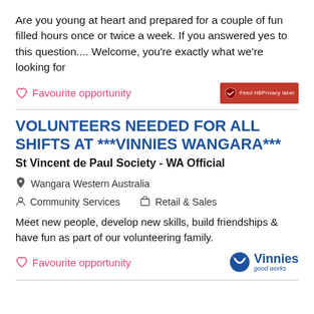Are you young at heart and prepared for a couple of fun filled hours once or twice a week. If you answered yes to this question.... Welcome, you're exactly what we're looking for
Favourite opportunity
VOLUNTEERS NEEDED FOR ALL SHIFTS AT ***VINNIES WANGARA***
St Vincent de Paul Society - WA Official
Wangara Western Australia
Community Services   Retail & Sales
Meet new people, develop new skills, build friendships & have fun as part of our volunteering family.
Favourite opportunity